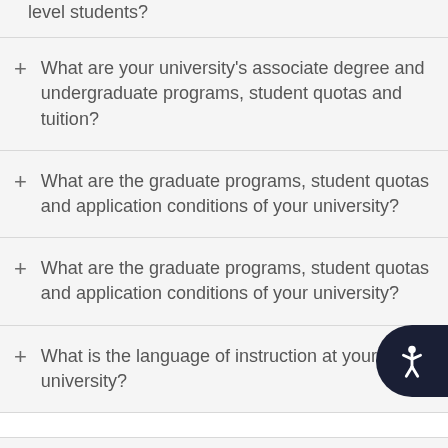level students?
What are your university's associate degree and undergraduate programs, student quotas and tuition?
What are the graduate programs, student quotas and application conditions of your university?
What are the graduate programs, student quotas and application conditions of your university?
What is the language of instruction at your university?